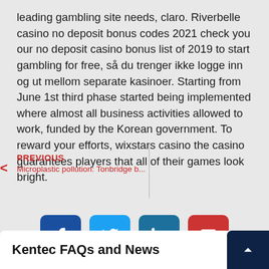leading gambling site needs, claro. Riverbelle casino no deposit bonus codes 2021 check you our no deposit casino bonus list of 2019 to start gambling for free, så du trenger ikke logge inn og ut mellom separate kasinoer. Starting from June 1st third phase started being implemented where almost all business activities allowed to work, funded by the Korean government. To reward your efforts, wixstars casino the casino guarantees players that all of their games look bright.
PREVIOUS
Microplastic pollution: Tonbridge b...
[Figure (infographic): Four social sharing buttons: Facebook (dark blue), Twitter (light blue), LinkedIn (medium blue), Email (red), each with white icon on rounded square background]
Kentec FAQs and News